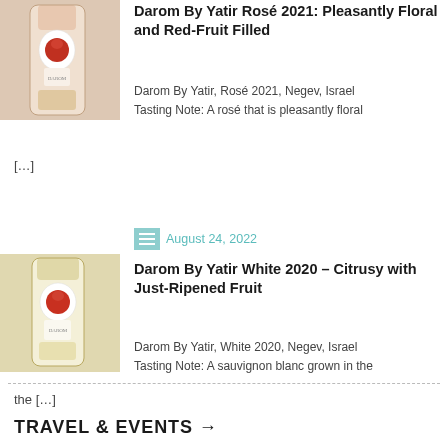[Figure (photo): Bottle of Darom By Yatir Rosé wine, pinkish color]
Darom By Yatir Rosé 2021: Pleasantly Floral and Red-Fruit Filled
Darom By Yatir, Rosé 2021, Negev, Israel
Tasting Note: A rosé that is pleasantly floral
[…]
August 24, 2022
[Figure (photo): Bottle of Darom By Yatir White wine, light golden color]
Darom By Yatir White 2020 – Citrusy with Just-Ripened Fruit
Darom By Yatir, White 2020, Negev, Israel
Tasting Note: A sauvignon blanc grown in the
[…]
TRAVEL & EVENTS →